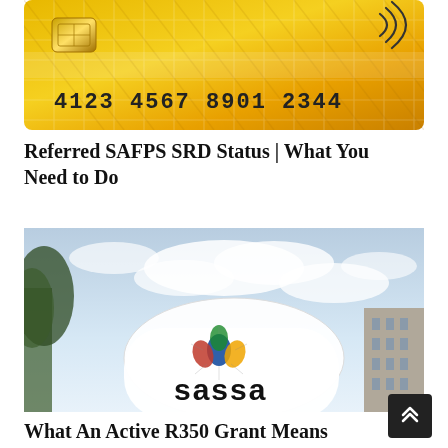[Figure (photo): Gold credit card showing chip and contactless symbol, card number 4123 4567 8901 2344]
Referred SAFPS SRD Status | What You Need to Do
[Figure (photo): Photo of SASSA building sign with logo (hands design) and word 'sassa', taken from low angle against blue sky with clouds and trees]
What An Active R350 Grant Means